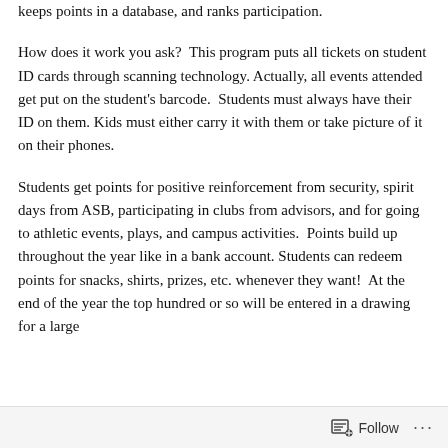keeps points in a database, and ranks participation.
How does it work you ask?  This program puts all tickets on student ID cards through scanning technology. Actually, all events attended get put on the student's barcode.  Students must always have their ID on them. Kids must either carry it with them or take picture of it on their phones.
Students get points for positive reinforcement from security, spirit days from ASB, participating in clubs from advisors, and for going to athletic events, plays, and campus activities.  Points build up throughout the year like in a bank account. Students can redeem points for snacks, shirts, prizes, etc. whenever they want!  At the end of the year the top hundred or so will be entered in a drawing for a large
Follow ···